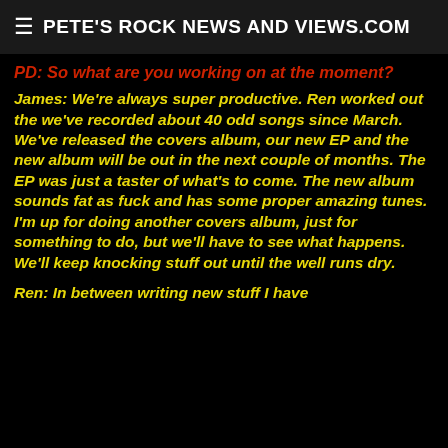PETE'S ROCK NEWS AND VIEWS.COM
PD: So what are you working on at the moment?
James: We're always super productive. Ren worked out the we've recorded about 40 odd songs since March. We've released the covers album, our new EP and the new album will be out in the next couple of months. The EP was just a taster of what's to come. The new album sounds fat as fuck and has some proper amazing tunes. I'm up for doing another covers album, just for something to do, but we'll have to see what happens. We'll keep knocking stuff out until the well runs dry.
Ren: In between writing new stuff I have